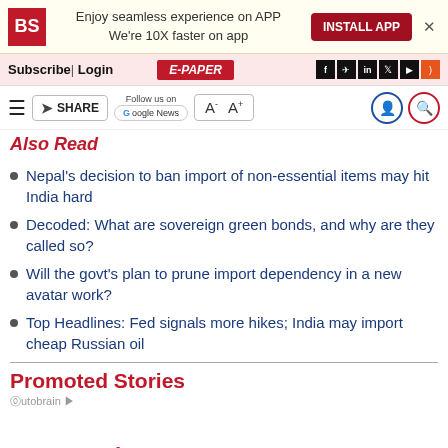BS | Enjoy seamless experience on APP We're 10X faster on app | INSTALL APP
Subscribe | Login | E-PAPER
SHARE | Follow us on Google News | A- A+
Also Read
Nepal's decision to ban import of non-essential items may hit India hard
Decoded: What are sovereign green bonds, and why are they called so?
Will the govt's plan to prune import dependency in a new avatar work?
Top Headlines: Fed signals more hikes; India may import cheap Russian oil
Promoted Stories
Most Read